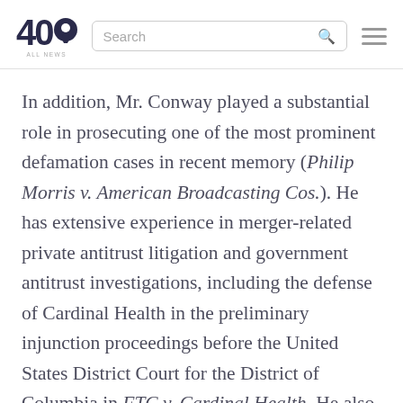40 [logo] Search [hamburger menu]
In addition, Mr. Conway played a substantial role in prosecuting one of the most prominent defamation cases in recent memory (Philip Morris v. American Broadcasting Cos.). He has extensive experience in merger-related private antitrust litigation and government antitrust investigations, including the defense of Cardinal Health in the preliminary injunction proceedings before the United States District Court for the District of Columbia in FTC v. Cardinal Health. He also represented the National Football League in